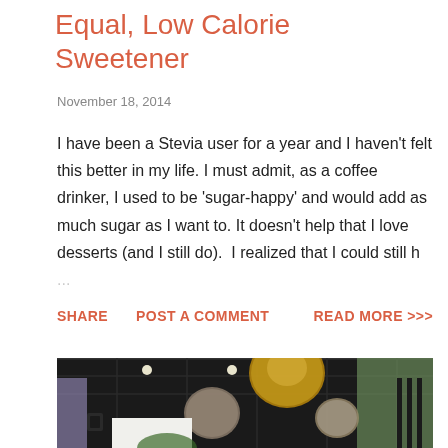Equal, Low Calorie Sweetener
November 18, 2014
I have been a Stevia user for a year and I haven't felt this better in my life. I must admit, as a coffee drinker, I used to be 'sugar-happy' and would add as much sugar as I want to. It doesn't help that I love desserts (and I still do).  I realized that I could still h ...
SHARE   POST A COMMENT   READ MORE >>>
[Figure (photo): Interior photo of a cafe or restaurant with dark ceiling, pendant globe lights with metallic finish, and colorful decorative elements visible in the background.]